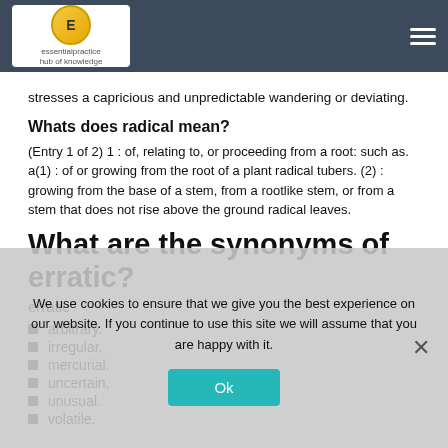essentialpractice hub of knowledge
stresses a capricious and unpredictable wandering or deviating.
Whats does radical mean?
(Entry 1 of 2) 1 : of, relating to, or proceeding from a root: such as. a(1) : of or growing from the root of a plant radical tubers. (2) : growing from the base of a stem, from a rootlike stem, or from a stem that does not rise above the ground radical leaves.
What are the synonyms of erratic?
erratic
arbitrary.
irregular.
mercurial.
uncertain.
unusual.
volatile.
We use cookies to ensure that we give you the best experience on our website. If you continue to use this site we will assume that you are happy with it.